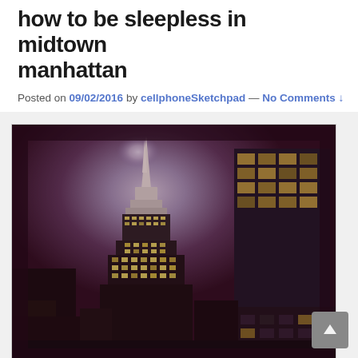how to be sleepless in midtown manhattan
Posted on 09/02/2016 by cellphoneSketchpad — No Comments ↓
[Figure (photo): Night photograph of Midtown Manhattan looking up at the Empire State Building and surrounding skyscrapers. The image has a dramatic purple/magenta toned filter with a bright glowing sky. The Empire State Building spire is prominently illuminated against the moody sky.]